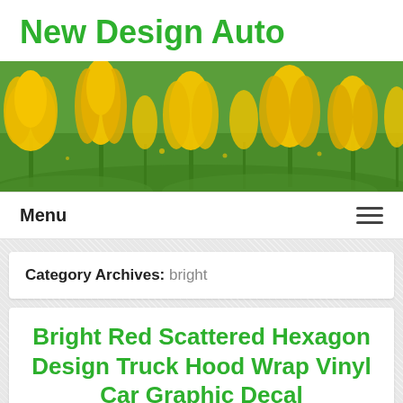New Design Auto
[Figure (photo): Wide banner photo of yellow tulips in bloom against a green grassy background]
Menu
Category Archives: bright
Bright Red Scattered Hexagon Design Truck Hood Wrap Vinyl Car Graphic Decal